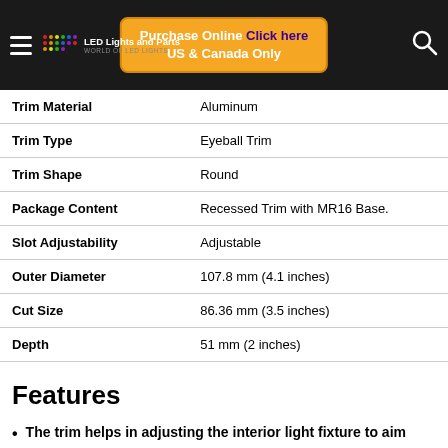LED Lights and Parts — Purchase Online Click here US & Canada Only
| Trim Material | Aluminum |
| Trim Type | Eyeball Trim |
| Trim Shape | Round |
| Package Content | Recessed Trim with MR16 Base. |
| Slot Adjustability | Adjustable |
| Outer Diameter | 107.8 mm (4.1 inches) |
| Cut Size | 86.36 mm (3.5 inches) |
| Depth | 51 mm (2 inches) |
Features
The trim helps in adjusting the interior light fixture to aim